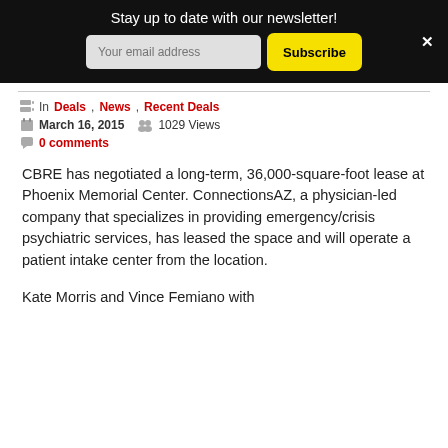Stay up to date with our newsletter!
In Deals, News, Recent Deals
March 16, 2015  1029 Views
0 comments
CBRE has negotiated a long-term, 36,000-square-foot lease at Phoenix Memorial Center. ConnectionsAZ, a physician-led company that specializes in providing emergency/crisis psychiatric services, has leased the space and will operate a patient intake center from the location.
Kate Morris and Vince Femiano with